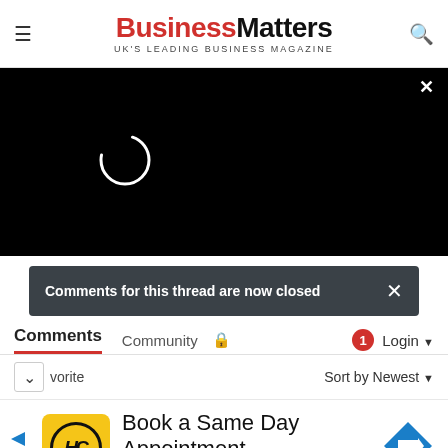BusinessMatters — UK'S LEADING BUSINESS MAGAZINE
[Figure (screenshot): Black video player area with loading spinner circle and close (×) button in top right corner]
Comments for this thread are now closed
Comments  Community  🔒  1  Login
∨  vorite  Sort by Newest
[Figure (infographic): Advertisement: Hair Cuttery — Book a Same Day Appointment. Yellow logo with HC monogram, blue navigation arrow icon.]